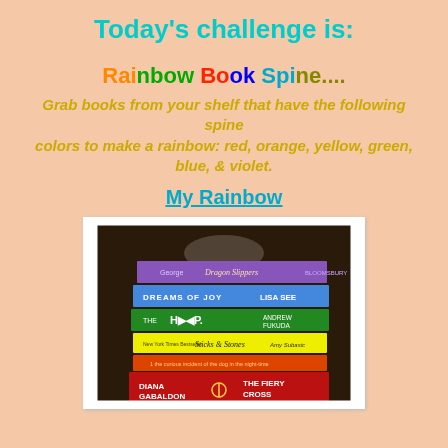Today's challenge is:
Rainbow Book Spine....
Grab books from your shelf that have the following spine colors to make a rainbow: red, orange, yellow, green, blue, & violet.
My Rainbow
[Figure (photo): A stack of books photographed from above, showing their spines in rainbow colors: purple (George / Dragon Slippers), blue (Dreams of Joy by Lisa See), green (The Hunt by Andrew Fukuda), yellow (Sticks & Stones by Amy Subasic), orange-red (The Curious Incident of the Dog in the Night-Time), and red (The Fiery Cross by Diana Gabaldon).]